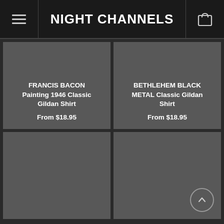NIGHT CHANNELS
FRANCIS BACON Painting 1946 Classic Gildan Shirt
From $18.95
BETHLEHEM BLACK METAL Classic Gildan Shirt
From $18.95
[Figure (other): Empty product card placeholder (bottom left)]
[Figure (other): Empty product card placeholder (bottom right) with back-to-top button]